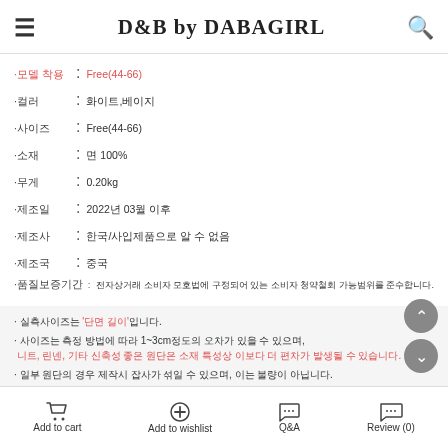D&B by DABAGIRL
·모델 착용 : Free(44-66)
·컬러 : 화이트,베이지
·사이즈 : Free(44-66)
·소재 : 면 100%
·무게 : 0.20kg
·제조일 : 2022년 03월 이후
·제조사 : 한국/사입제품으로 알 수 없음
·제조국 : 중국
·품질보증기간 : 전자상거래 소비자 모호법에 구정되어 있는 소비자 청약철회 가능범위를 준수합니다.
· 실측사이즈는 '단면 길이'입니다.
· 사이즈는 측정 방법에 따라 1~3cm정도의 오차가 있을 수 있으며, 니트, 린넨, 기타 신축성 좋은 원단은 소재 특성상 이보다 더 편차가 발생될 수 있습니다.
· 일부 원단의 경우 제작시 잡사가 섞일 수 있으며, 이는 불량이 아닙니다.
· 제품의 색상은 사용자의 모니터 해상도에 따라 실제 색상과 다소 차이가 있을 수 있습니다.
· 정해진 세탁방법과 다르게 세탁하여 발생하는 불량의 경우 교환/환불/수선이 불가합니다.
· 배색 상품의 경우 이염될 수 있으니 꼭 세탁 방법을 확인해주세요.
· 소재 특성상 마찰로 인해 보품이 날 수 있으며, 이는 불량이 아닙니다. 소재를 확인해주세요.
Add to cart  Add to wishlist  Q&A  Review (0)